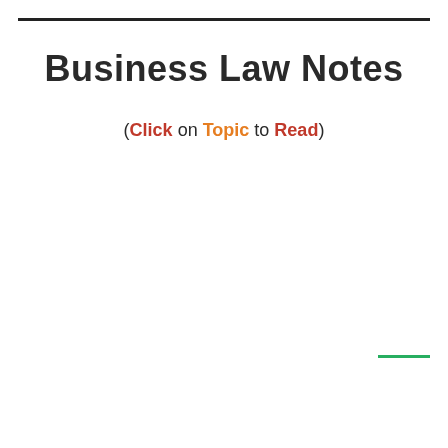Business Law Notes
(Click on Topic to Read)